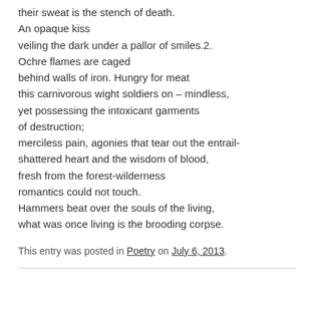their sweat is the stench of death.
An opaque kiss
veiling the dark under a pallor of smiles.2.
Ochre flames are caged
behind walls of iron. Hungry for meat
this carnivorous wight soldiers on – mindless,
yet possessing the intoxicant garments
of destruction;
merciless pain, agonies that tear out the entrail-
shattered heart and the wisdom of blood,
fresh from the forest-wilderness
romantics could not touch.
Hammers beat over the souls of the living,
what was once living is the brooding corpse.
This entry was posted in Poetry on July 6, 2013.